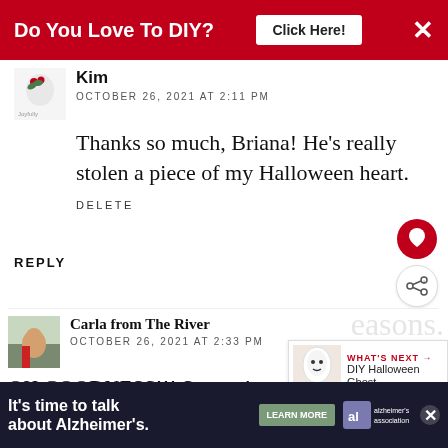[Figure (infographic): Red ad banner at top: 'Do You Love To DIY?' with 'Click Here!' button and X close button]
Kim
OCTOBER 26, 2021 AT 2:11 PM
Thanks so much, Briana! He's really stolen a piece of my Halloween heart.
DELETE
REPLY
Carla from The River
OCTOBER 26, 2021 AT 2:33 PM
OH GOODNESS!!! So cute!
[Figure (infographic): WHAT'S NEXT arrow label with DIY Halloween Ghost... text and thumbnail image]
[Figure (infographic): Bottom ad banner: It's time to talk about Alzheimer's. LEARN MORE button. Alzheimer's Association logo.]